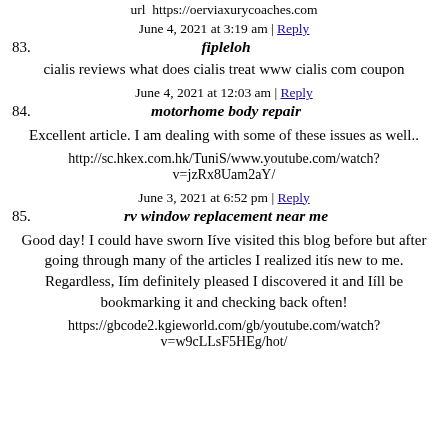url  https://oerviaxurycoaches.com
June 4, 2021 at 3:19 am | Reply
83.  fipleloh
cialis reviews what does cialis treat www cialis com coupon
June 4, 2021 at 12:03 am | Reply
84.  motorhome body repair
Excellent article. I am dealing with some of these issues as well..
http://sc.hkex.com.hk/TuniS/www.youtube.com/watch?v=jzRx8Uam2aY/
June 3, 2021 at 6:52 pm | Reply
85.  rv window replacement near me
Good day! I could have sworn Iíve visited this blog before but after going through many of the articles I realized itís new to me. Regardless, Iím definitely pleased I discovered it and Iíll be bookmarking it and checking back often!
https://gbcode2.kgieworld.com/gb/youtube.com/watch?v=w9cLLsF5HEg/hot/